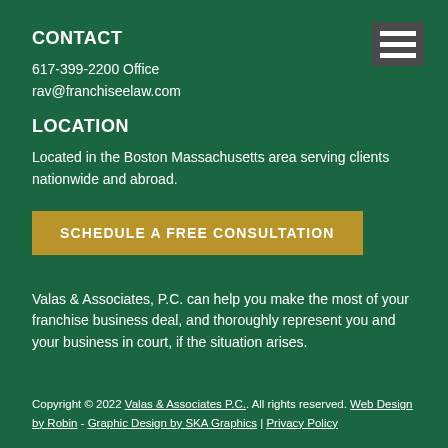CONTACT
617-399-2200 Office
rav@franchiseelaw.com
LOCATION
Located in the Boston Massachusetts area serving clients nationwide and abroad.
SCHEDULE A FREE CONSULTATION
Valas & Associates, P.C. can help you make the most of your franchise business deal, and thoroughly represent you and your business in court, if the situation arises.
Copyright © 2022 Valas & Associates P.C.. All rights reserved. Web Design by Robin - Graphic Design by SKA Graphics | Privacy Policy